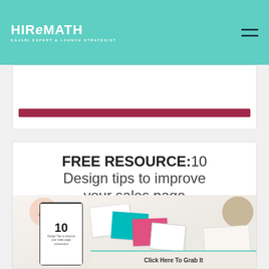HIREMATH — KAJABI EXPERT & LAUNCH STRATEGIST
[Figure (screenshot): Bottom portion of a previous card showing a dark red/maroon button bar]
[Figure (screenshot): Promotional card with title 'FREE RESOURCE: 10 Design tips to improve your sales page conversions' and a mockup image showing a free guide booklet with device mockup and scattered design materials, with a 'Click Here To Grab It' button]
FREE RESOURCE:10 Design tips to improve your sales page conversions